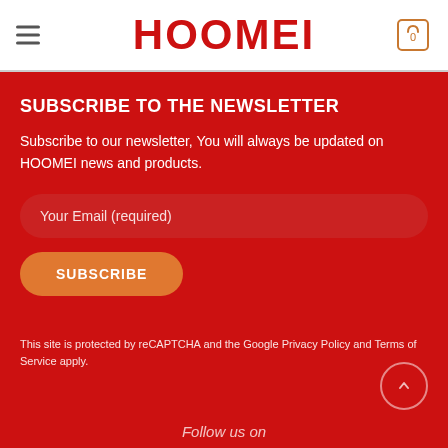HOOMEI
SUBSCRIBE TO THE NEWSLETTER
Subscribe to our newsletter, You will always be updated on HOOMEI news and products.
Your Email (required)
SUBSCRIBE
This site is protected by reCAPTCHA and the Google Privacy Policy and Terms of Service apply.
Follow us on